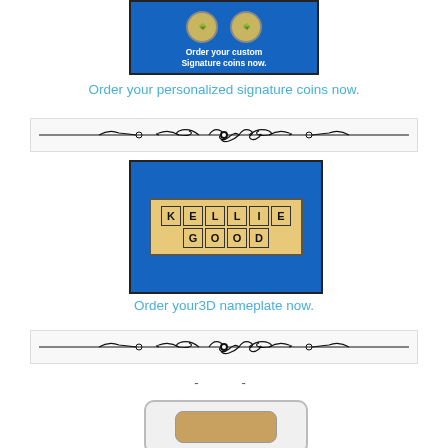[Figure (photo): Photo of two custom signature coins on a blue background with text 'Order your custom Signature coins now.']
Order your personalized signature coins now.
[Figure (illustration): Decorative ornamental divider border]
[Figure (photo): Photo of a 3D nameplate object with letters spelling 'KELLIE GOOD' on a blue background]
Order your3D nameplate now.
[Figure (illustration): Decorative ornamental divider border]
- -
[Figure (photo): Partial photo of a product at the bottom of the page]